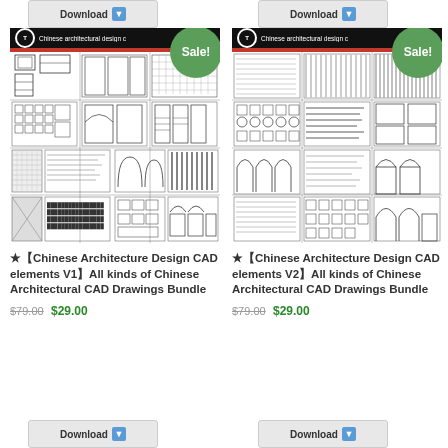[Figure (screenshot): Download button (top left) with arrow icon]
[Figure (screenshot): Download button (top right) with arrow icon]
[Figure (engineering-diagram): Chinese Architecture Design CAD elements V1 product thumbnail with Sale! badge]
★【Chinese Architecture Design CAD elements V1】All kinds of Chinese Architectural CAD Drawings Bundle
$79.00 $29.00
[Figure (engineering-diagram): Chinese Architecture Design CAD elements V2 product thumbnail with Sale! badge]
★【Chinese Architecture Design CAD elements V2】All kinds of Chinese Architectural CAD Drawings Bundle
$79.00 $29.00
[Figure (screenshot): Download button (bottom left) with arrow icon]
[Figure (screenshot): Download button (bottom right) with arrow icon]